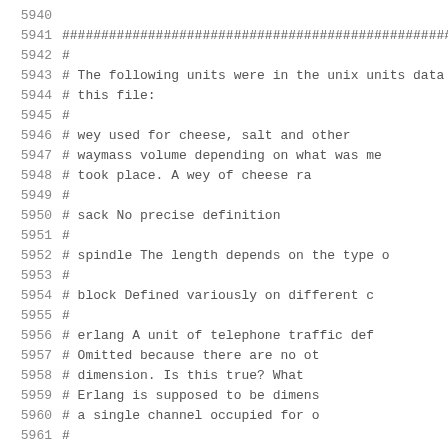Source code / configuration file excerpt, lines 5940-5962, showing commented units documentation including wey, waymass, sack, spindle, block, and erlang units.